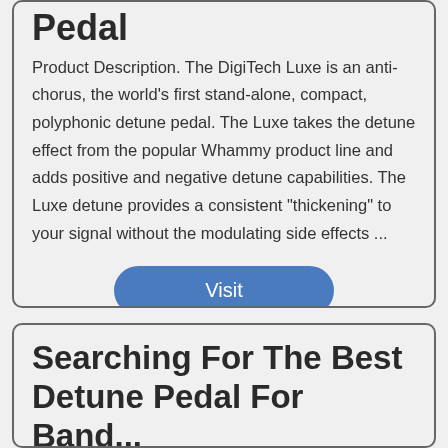Pedal
Product Description. The DigiTech Luxe is an anti-chorus, the world's first stand-alone, compact, polyphonic detune pedal. The Luxe takes the detune effect from the popular Whammy product line and adds positive and negative detune capabilities. The Luxe detune provides a consistent "thickening" to your signal without the modulating side effects ...
Visit
Searching For The Best Detune Pedal For Band...